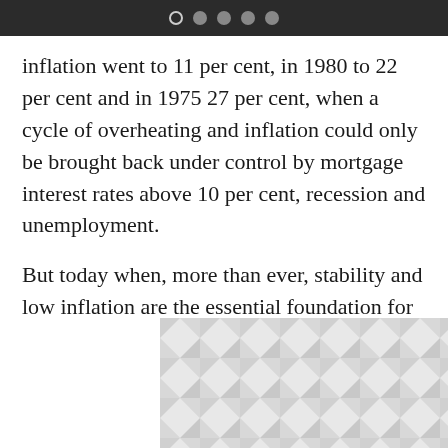● ● ● ●
inflation went to 11 per cent, in 1980 to 22 per cent and in 1975 27 per cent, when a cycle of overheating and inflation could only be brought back under control by mortgage interest rates above 10 per cent, recession and unemployment.
But today when, more than ever, stability and low inflation are the essential foundation for investment and job creation, Britain ends this year with inflation lower than America, lower than the euro area, lower than the European Union as a
[Figure (illustration): Decorative geometric triangle pattern in light grey tones at the bottom of the page]